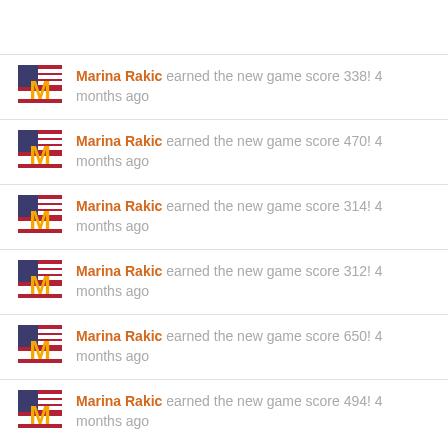Marina Rakic earned the new game score 338! 4 months ago
Marina Rakic earned the new game score 470! 4 months ago
Marina Rakic earned the new game score 314! 4 months ago
Marina Rakic earned the new game score 312! 4 months ago
Marina Rakic earned the new game score 650! 4 months ago
Marina Rakic earned the new game score 494! 4 months ago